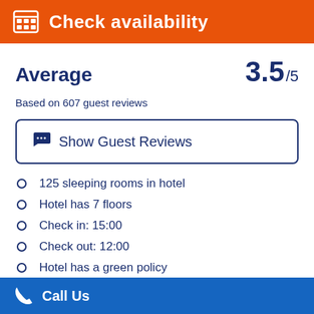[Figure (screenshot): Orange bar with calendar grid icon and 'Check availability' text in white]
Average
3.5 /5
Based on 607 guest reviews
Show Guest Reviews
125 sleeping rooms in hotel
Hotel has 7 floors
Check in: 15:00
Check out: 12:00
Hotel has a green policy
Group score of 6.7/10
Call Us